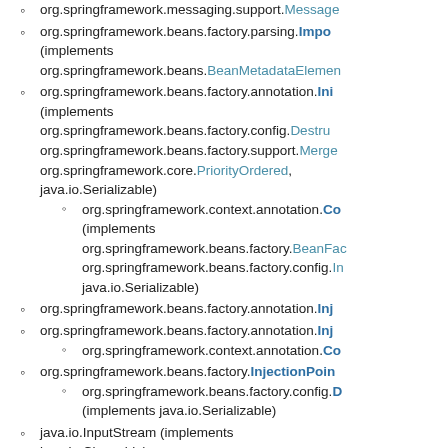org.springframework.messaging.support.Message...
org.springframework.beans.factory.parsing.Impo... (implements org.springframework.beans.BeanMetadataElemen...
org.springframework.beans.factory.annotation.Ini... (implements org.springframework.beans.factory.config.Destru... org.springframework.beans.factory.support.Merge... org.springframework.core.PriorityOrdered, java.io.Serializable)
org.springframework.context.annotation.Co... (implements org.springframework.beans.factory.BeanFac... org.springframework.beans.factory.config.In... java.io.Serializable)
org.springframework.beans.factory.annotation.Inj...
org.springframework.beans.factory.annotation.Inj...
org.springframework.context.annotation.Co...
org.springframework.beans.factory.InjectionPoin...
org.springframework.beans.factory.config.D... (implements java.io.Serializable)
java.io.InputStream (implements java.io.Closeable)
java.io.ObjectInputStream (implements java.io.ObjectInput, java.io.ObjectStreamConstants)
org.springframework.core.Configura...
org.springframework.remoting.r...
javax.servlet.ServletInputStream...